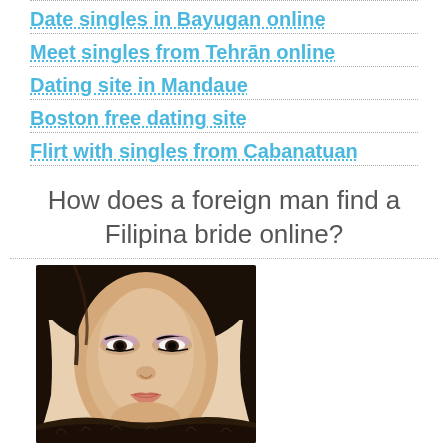Date singles in Bayugan online
Meet singles from Tehrān online
Dating site in Mandaue
Boston free dating site
Flirt with singles from Cabanatuan
How does a foreign man find a Filipina bride online?
[Figure (photo): Close-up photo of a young Asian woman with dark hair, wearing eye makeup with purple/lavender eyeshadow, smiling softly, wearing a dark fur-trimmed collar]